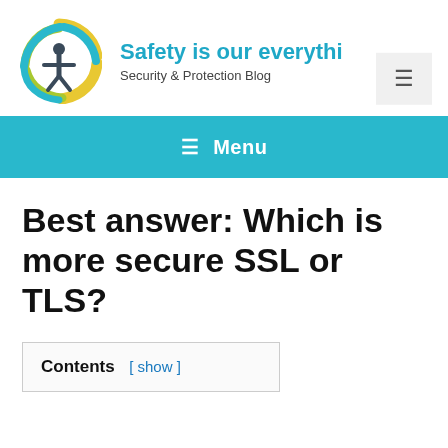[Figure (logo): Circular logo with yellow, green, and blue swirling rings and a person icon in the center]
Safety is our everythi
Security & Protection Blog
≡ Menu
Best answer: Which is more secure SSL or TLS?
Contents [ show ]